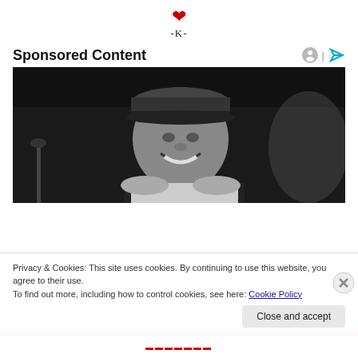❤ -K-
Sponsored Content
[Figure (photo): Black and white photo of a smiling man wearing a cap and basketball jersey, photographed at what appears to be an indoor event.]
Privacy & Cookies: This site uses cookies. By continuing to use this website, you agree to their use.
To find out more, including how to control cookies, see here: Cookie Policy
Close and accept